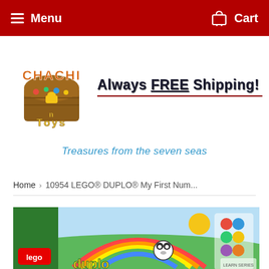Menu  Cart
[Figure (logo): Chachi Toys treasure chest logo with colorful text and gold accents]
Always FREE Shipping!
Treasures from the seven seas
Home › 10954 LEGO® DUPLO® My First Num...
[Figure (photo): LEGO DUPLO My First Number Train product box showing a rainbow, panda, and colorful duplo bricks on a green and blue background]